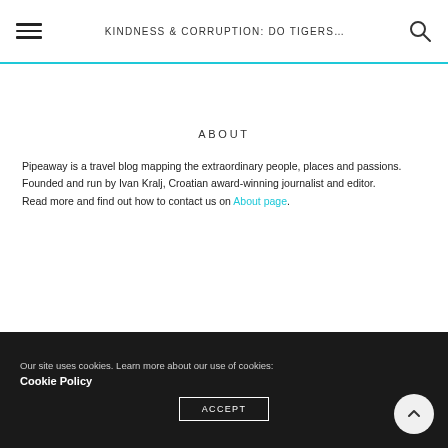KINDNESS & CORRUPTION: DO TIGERS...
ABOUT
Pipeaway is a travel blog mapping the extraordinary people, places and passions.
Founded and run by Ivan Kralj, Croatian award-winning journalist and editor.
Read more and find out how to contact us on About page.
Our site uses cookies. Learn more about our use of cookies: Cookie Policy
ACCEPT